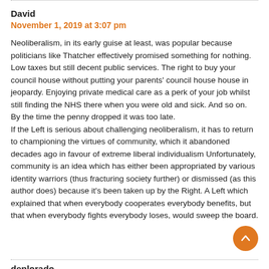David
November 1, 2019 at 3:07 pm
Neoliberalism, in its early guise at least, was popular because politicians like Thatcher effectively promised something for nothing. Low taxes but still decent public services. The right to buy your council house without putting your parents' council house house in jeopardy. Enjoying private medical care as a perk of your job whilst still finding the NHS there when you were old and sick. And so on. By the time the penny dropped it was too late.
If the Left is serious about challenging neoliberalism, it has to return to championing the virtues of community, which it abandoned decades ago in favour of extreme liberal individualism Unfortunately, community is an idea which has either been appropriated by various identity warriors (thus fracturing society further) or dismissed (as this author does) because it's been taken up by the Right. A Left which explained that when everybody cooperates everybody benefits, but that when everybody fights everybody loses, would sweep the board.
deplorado